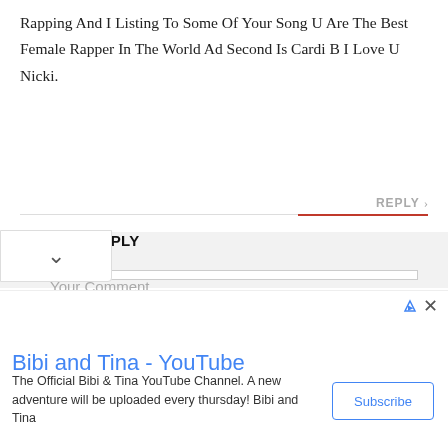Rapping And I Listing To Some Of Your Song U Are The Best Female Rapper In The World Ad Second Is Cardi B I Love U Nicki.
REPLY >
LEAVE A REPLY
Your Comment
[Figure (screenshot): Advertisement banner: Bibi and Tina - YouTube. The Official Bibi & Tina YouTube Channel. A new adventure will be uploaded every thursday! Bibi and Tina. Subscribe button.]